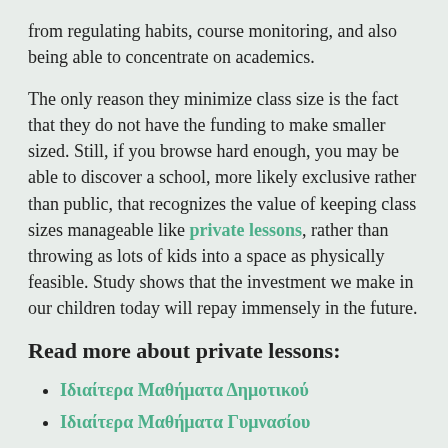from regulating habits, course monitoring, and also being able to concentrate on academics.
The only reason they minimize class size is the fact that they do not have the funding to make smaller sized. Still, if you browse hard enough, you may be able to discover a school, more likely exclusive rather than public, that recognizes the value of keeping class sizes manageable like private lessons, rather than throwing as lots of kids into a space as physically feasible. Study shows that the investment we make in our children today will repay immensely in the future.
Read more about private lessons:
Ιδιαίτερα Μαθήματα Δημοτικού
Ιδιαίτερα Μαθήματα Γυμνασίου